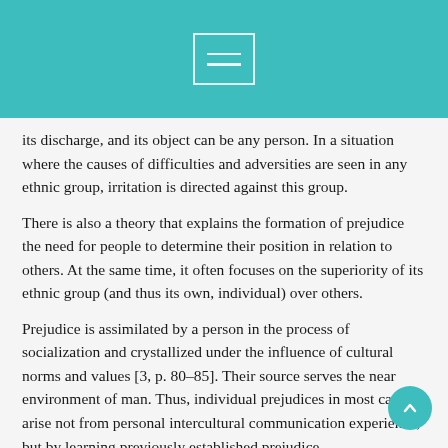[Navigation menu icon]
its discharge, and its object can be any person. In a situation where the causes of difficulties and adversities are seen in any ethnic group, irritation is directed against this group.
There is also a theory that explains the formation of prejudice the need for people to determine their position in relation to others. At the same time, it often focuses on the superiority of its ethnic group (and thus its own, individual) over others.
Prejudice is assimilated by a person in the process of socialization and crystallized under the influence of cultural norms and values [3, p. 80–85]. Their source serves the near environment of man. Thus, individual prejudices in most cases arise not from personal intercultural communication experience, but by learning previously established prejudice.
The following types of prejudice can exist. The…